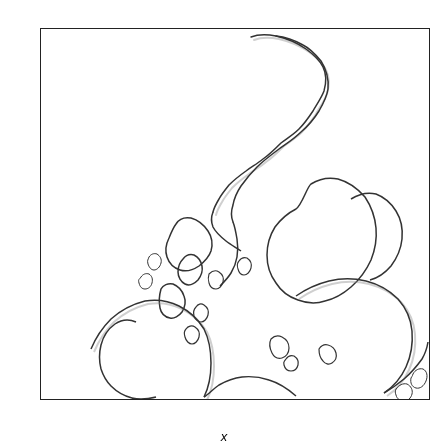[Figure (map): Black and white outline map showing northern Canada and Arctic archipelago regions, including islands, coastlines, and landmasses. The map appears to show the Canadian Arctic from a top-down perspective with detailed coastline outlines of Ellesmere Island, Baffin Island, and other Arctic islands.]
x